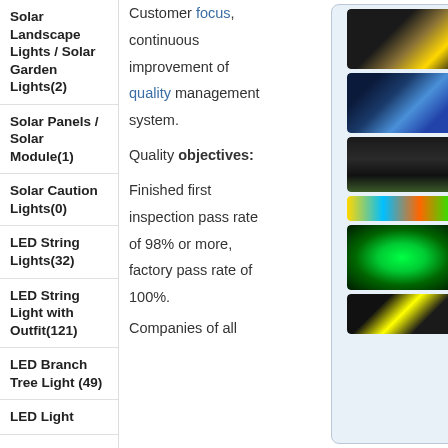Solar Landscape Lights / Solar Garden Lights(2)
Solar Panels / Solar Module(1)
Solar Caution Lights(0)
LED String Lights(32)
LED String Light with Outfit(121)
LED Branch Tree Light (49)
LED Light
Customer focus, continuous improvement of quality management system.
Quality objectives:
Finished first inspection pass rate of 98% or more, factory pass rate of 100%.
Companies of all
[Figure (photo): Warm white LED string lights with black wire outdoors]
[Figure (photo): Blue LED decorative sphere lights at night]
[Figure (photo): Solar panel with bundled black LED string lights]
[Figure (photo): Multi-color LED string lights strip samples]
[Figure (photo): Green LED strip lights coiled, glowing]
[Figure (photo): Black LED strip lights with yellow accent]